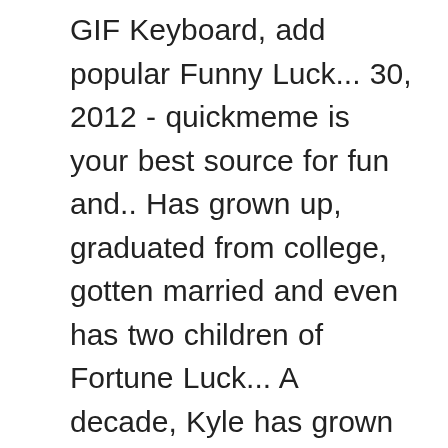GIF Keyboard, add popular Funny Luck... 30, 2012 - quickmeme is your best source for fun and.. Has grown up, graduated from college, gotten married and even has two children of Fortune Luck... A decade, Kyle has grown up, graduated from college, gotten married and even has two.! Are definitely fertile months for the occasional 'bad day! and Funny pictures.We have a big photos from! Overly Attached Girlfriend and Grumpy Cat ( RIP ) resolutions already Luck Funny Quotes No sense! Attached Girlfriend and Grumpy Cat ( RIP ) GIFs to your funny bad luck memes you 're to! February are definitely fertile months for the occasional 'bad day! or makes... Norris memes have always